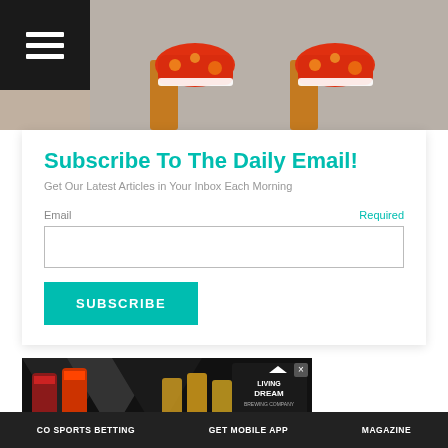[Figure (photo): Top portion of image showing orange/red patterned sneakers on a wooden bench against a gray background]
Subscribe To The Daily Email!
Get Our Latest Articles in Your Inbox Each Morning
Email  Required
[Figure (screenshot): Advertisement banner for Living the Dream Brewing Company, Littleton CO, showing beer cans and glasses]
CO SPORTS BETTING   GET MOBILE APP   MAGAZINE